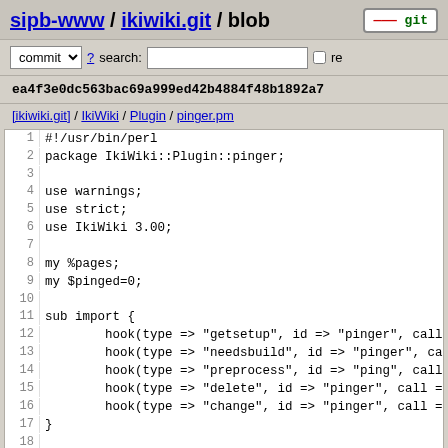sipb-www / ikiwiki.git / blob
commit ? search: re
ea4f3e0dc563bac69a999ed42b4884f48b1892a7
[ikiwiki.git] / IkiWiki / Plugin / pinger.pm
1  #!/usr/bin/perl
2  package IkiWiki::Plugin::pinger;
3
4  use warnings;
5  use strict;
6  use IkiWiki 3.00;
7
8  my %pages;
9  my $pinged=0;
10
11 sub import {
12         hook(type => "getsetup", id => "pinger", call =
13         hook(type => "needsbuild", id => "pinger", call
14         hook(type => "preprocess", id => "ping", call =
15         hook(type => "delete", id => "pinger", call =>
16         hook(type => "change", id => "pinger", call =>
17 }
18
19 sub getsetup () {
20         return
21